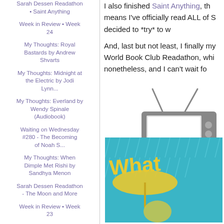Sarah Dessen Readathon • Saint Anything
Week in Review • Week 24
My Thoughts: Royal Bastards by Andrew Shvarts
My Thoughts: Midnight at the Electric by Jodi Lynn...
My Thoughts: Everland by Wendy Spinale (Audiobook)
Waiting on Wednesday #280 - The Becoming of Noah S...
My Thoughts: When Dimple Met Rishi by Sandhya Menon
Sarah Dessen Readathon - The Moon and More
Week in Review • Week 23
My Thoughts: Words in Deep Blue by Cath Crowley
I also finished Saint Anything, th means I've officially read ALL of S decided to *try* to w
And, last but not least, I finally my World Book Club Readathon, whi nonetheless, and I can't wait fo
[Figure (illustration): Retro-style cartoon television set with antenna, in gray tones]
[Figure (photo): Book cover or movie image with text 'What' visible, person in yellow raincoat with umbrella on blue background]